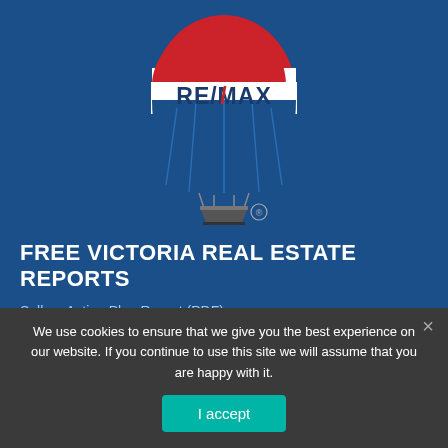[Figure (logo): RE/MAX hot air balloon logo with red, white, and blue balloon and RE/MAX text on white band. Basket hanging below with registered trademark symbol.]
FREE VICTORIA REAL ESTATE REPORTS
Sellers Action Plan Report (PDF)
Ultimate Home Buyers Guide (PDF)
We use cookies to ensure that we give you the best experience on our website. If you continue to use this site we will assume that you are happy with it.